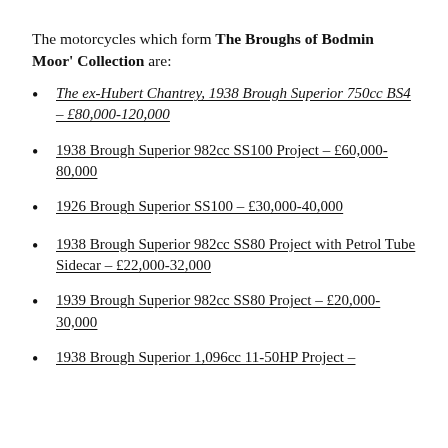The motorcycles which form The Broughs of Bodmin Moor' Collection are:
The ex-Hubert Chantrey, 1938 Brough Superior 750cc BS4 – £80,000-120,000
1938 Brough Superior 982cc SS100 Project – £60,000-80,000
1926 Brough Superior SS100 – £30,000-40,000
1938 Brough Superior 982cc SS80 Project with Petrol Tube Sidecar – £22,000-32,000
1939 Brough Superior 982cc SS80 Project – £20,000-30,000
1938 Brough Superior 1,096cc 11-50HP Project –